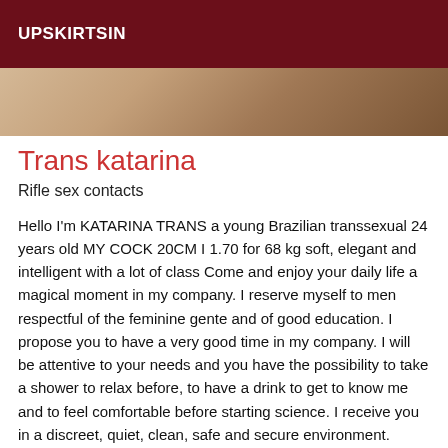UPSKIRTSIN
[Figure (photo): Partial photo strip showing skin tones, cropped at top]
Trans katarina
Rifle sex contacts
Hello I'm KATARINA TRANS a young Brazilian transsexual 24 years old MY COCK 20CM I 1.70 for 68 kg soft, elegant and intelligent with a lot of class Come and enjoy your daily life a magical moment in my company. I reserve myself to men respectful of the feminine gente and of good education. I propose you to have a very good time in my company. I will be attentive to your needs and you have the possibility to take a shower to relax before, to have a drink to get to know me and to feel comfortable before starting science. I receive you in a discreet, quiet, clean, safe and secure environment. Hygiene is guaranteed and rigor. I am listening to you I am active and passive to satisfy your desires I love meetings relational me passion .... I